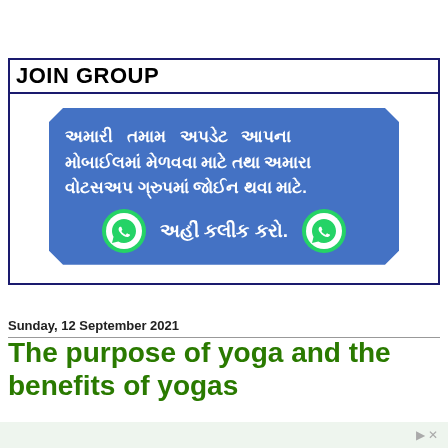JOIN GROUP
[Figure (infographic): Blue banner with Gujarati text about WhatsApp group and two WhatsApp icons, with text: અમારી તમામ અપડેટ આપના મોબાઈલમાં મેળવવા માટે તથા અમારા વોટસઅપ ગ્રુપમાં જોઈન થવા માટે. અહીં કલીક કરો.]
Sunday, 12 September 2021
The purpose of yoga and the benefits of yogas